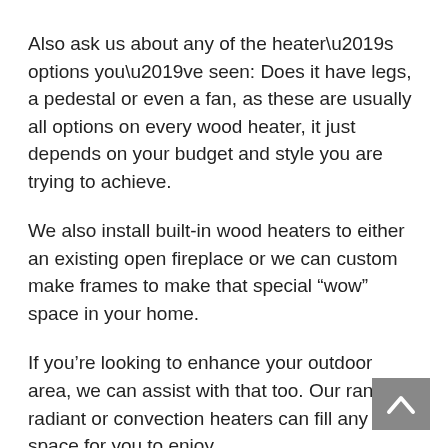Also ask us about any of the heater’s options you’ve seen: Does it have legs, a pedestal or even a fan, as these are usually all options on every wood heater, it just depends on your budget and style you are trying to achieve.
We also install built-in wood heaters to either an existing open fireplace or we can custom make frames to make that special “wow” space in your home.
If you’re looking to enhance your outdoor area, we can assist with that too. Our range of radiant or convection heaters can fill any space for you to enjoy.